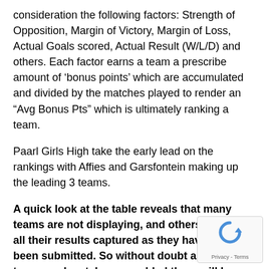consideration the following factors: Strength of Opposition, Margin of Victory, Margin of Loss, Actual Goals scored, Actual Result (W/L/D) and others. Each factor earns a team a prescribe amount of 'bonus points' which are accumulated and divided by the matches played to render an "Avg Bonus Pts" which is ultimately ranking a team.
Paarl Girls High take the early lead on the rankings with Affies and Garsfontein making up the leading 3 teams.
A quick look at the table reveals that many teams are not displaying, and others have not all their results captured as they have not yet been submitted. So without doubt as more teams and matches are added there will be some movement on the table.
Please send through your team's results to
[Figure (other): reCAPTCHA widget showing a circular arrow icon and 'Privacy - Terms' text]